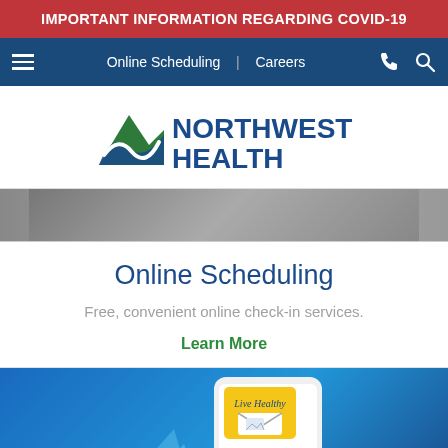IMPORTANT INFORMATION REGARDING COVID-19
Online Scheduling | Careers
[Figure (logo): Northwest Health logo with mountain/wave symbol in green and blue]
[Figure (photo): Close-up photo of person holding a phone or device]
Online Scheduling
Free, convenient online check-in services.
Learn More
[Figure (illustration): Illustration of a smartphone with a yellow 'Live Healthy' card and envelope on a blue gradient background]